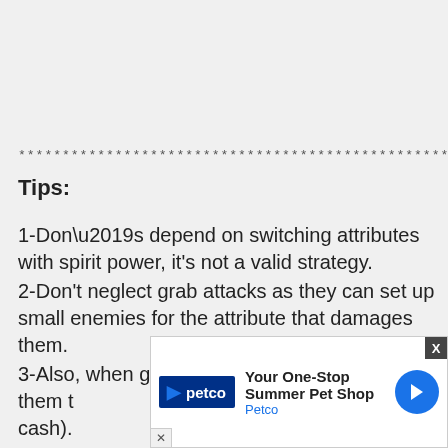****************************************************
Tips:
1-Don’s depend on switching attributes with spirit power, it's not a valid strategy.
2-Don't neglect grab attacks as they can set up small enemies for the attribute that damages them.
3-Also, when grabbing enemies, you can bas[X] them t[ad] cash).